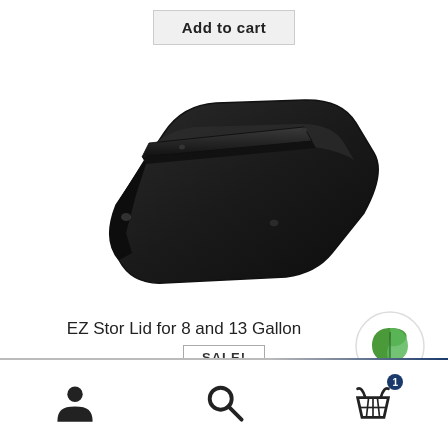Add to cart
[Figure (photo): Black plastic lid for EZ Stor 8 and 13 Gallon containers, viewed from an angle showing the flat top surface with a raised ridge handle and rounded corners]
EZ Stor Lid for 8 and 13 Gallon
SALE!
[Figure (logo): Green leaf eco/sustainability icon inside a white circle with a light grey border]
[Figure (other): Bottom navigation bar with person/account icon, search/magnifying glass icon, and shopping basket icon with badge showing count 1]